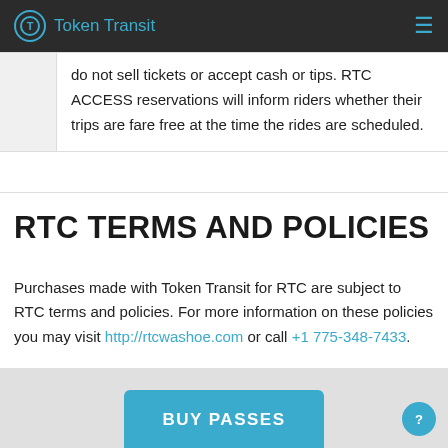Token Transit
do not sell tickets or accept cash or tips. RTC ACCESS reservations will inform riders whether their trips are fare free at the time the rides are scheduled.
RTC TERMS AND POLICIES
Purchases made with Token Transit for RTC are subject to RTC terms and policies. For more information on these policies you may visit http://rtcwashoe.com or call +1 775-348-7433.
BUY PASSES